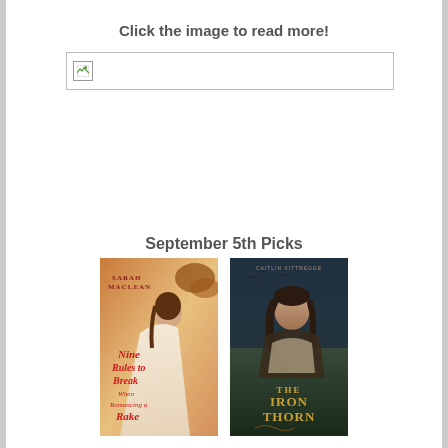Click the image to read more!
[Figure (illustration): Broken/missing image placeholder box with a small broken image icon in the top-left corner]
September 5th Picks
[Figure (illustration): Book cover: Nine Rules to Break When Romancing a Rake by Sarah MacLean — woman in white dress with red/gold text]
[Figure (illustration): Book cover: The Iron Thorn by Caitlin Kittredge — dark atmospheric image of a young woman with dark hair]